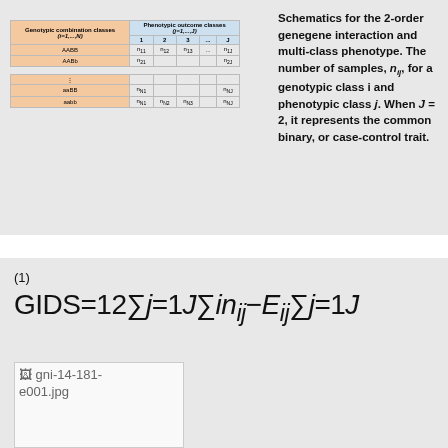[Figure (table-as-image): Schematic table showing genotypic combination classes vs phenotypic outcome classes (j=1,...,J), with sample counts n_ij]
Schematics for the 2-order genegene interaction and multi-class phenotype. The number of samples, n_ij, for a genotypic class i and phenotypic class j. When J = 2, it represents the common binary, or case-control trait.
[Figure (other): Image file: gni-14-181-e001.jpg]